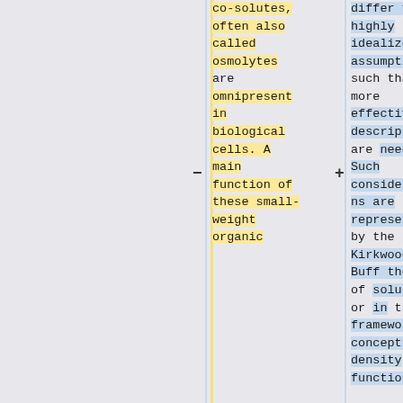co-solutes, often also called osmolytes are omnipresent in biological cells. A main function of these small-weight organic
differ from highly idealized assumptions such that more effective descriptions are needed. Such considerations are represented by the Kirkwood-Buff theory of solutions or in the framework of conceptual density functional